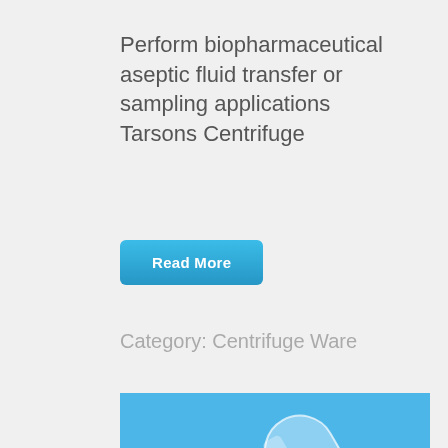Perform biopharmaceutical aseptic fluid transfer or sampling applications Tarsons Centrifuge
Read More
Category: Centrifuge Ware
[Figure (photo): Two clear glass/plastic centrifuge tubes lying on a blue background, one on top of the other at a slight angle]